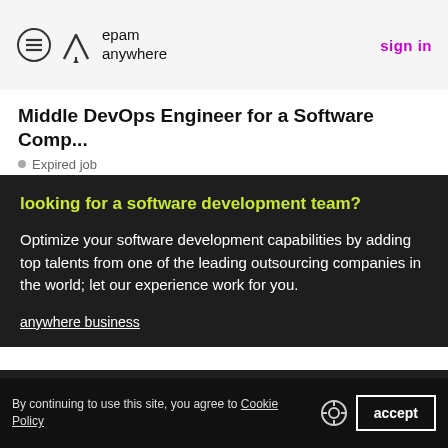epam anywhere | sign in
Middle DevOps Engineer for a Software Comp...
Expired job
looking for a software development team?
Optimize your software development capabilities by adding top talents from one of the leading outsourcing companies in the world; let our experience work for you.
anywhere business
privacy policy   privacy notice   contact support
By continuing to use this site, you agree to Cookie Policy   accept